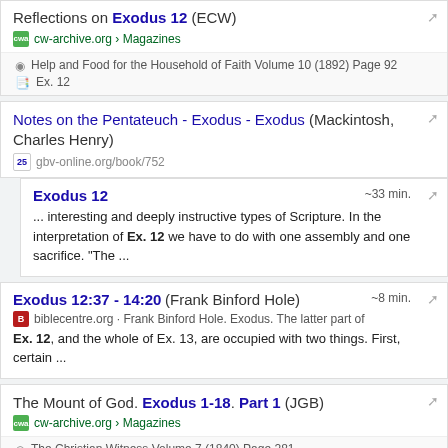Reflections on Exodus 12 (ECW) - cw-archive.org › Magazines
Help and Food for the Household of Faith Volume 10 (1892) Page 92
Ex. 12
Notes on the Pentateuch - Exodus - Exodus (Mackintosh, Charles Henry) - gbv-online.org/book/752
Exodus 12 ~33 min. ... interesting and deeply instructive types of Scripture. In the interpretation of Ex. 12 we have to do with one assembly and one sacrifice. "The ...
Exodus 12:37 - 14:20 (Frank Binford Hole) ~8 min. - biblecentre.org · Frank Binford Hole. Exodus. The latter part of Ex. 12, and the whole of Ex. 13, are occupied with two things. First, certain ...
The Mount of God. Exodus 1-18. Part 1 (JGB) - cw-archive.org › Magazines
The Christian Witness Volume 7 (1840) Page 281
Ex. 1-18